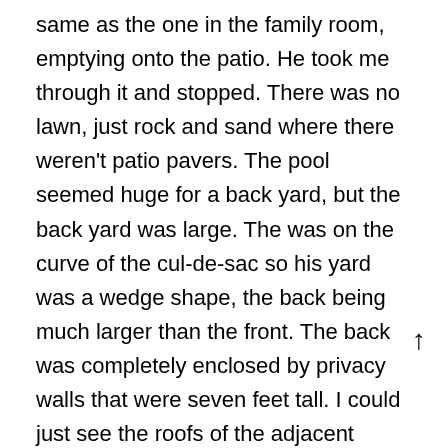same as the one in the family room, emptying onto the patio. He took me through it and stopped. There was no lawn, just rock and sand where there weren't patio pavers. The pool seemed huge for a back yard, but the back yard was large. The was on the curve of the cul-de-sac so his yard was a wedge shape, the back being much larger than the front. The back was completely enclosed by privacy walls that were seven feet tall. I could just see the roofs of the adjacent houses, but no windows were evident. A gate in the back wall led to the golf course. He said he was on the fourth fairway just short of a dog-leg to the left, which was protected by out-of-bounds and two large oak trees. Just then, a movement and whine came from my left. A dog, apparently sleeping under the cover outside the family room, came running to us. Nick simply put up a hand and the dog nearly sk**ded to a stop in front of us. I was impressed. The dog sat, twitching with